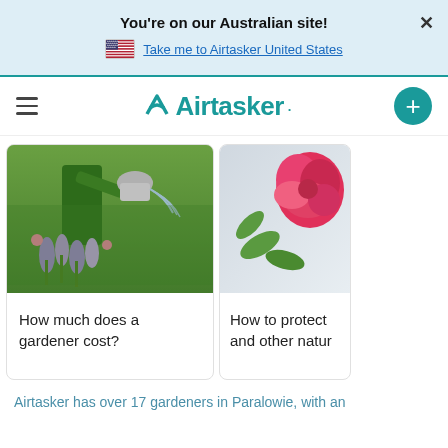You're on our Australian site!
🇺🇸 Take me to Airtasker United States
Airtasker
[Figure (photo): Person watering garden plants with a metal watering can, lavender flowers in foreground]
How much does a gardener cost?
[Figure (photo): Pink rose flower with blurred background]
How to protect and other natur
Airtasker has over 17 gardeners in Paralowie, with an